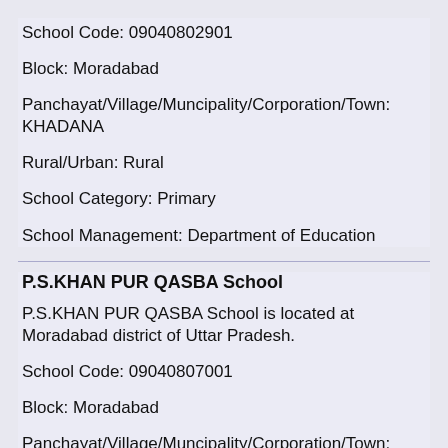School Code: 09040802901
Block: Moradabad
Panchayat/Village/Muncipality/Corporation/Town: KHADANA
Rural/Urban: Rural
School Category: Primary
School Management: Department of Education
P.S.KHAN PUR QASBA School
P.S.KHAN PUR QASBA School is located at Moradabad district of Uttar Pradesh.
School Code: 09040807001
Block: Moradabad
Panchayat/Village/Muncipality/Corporation/Town: KHAN PUR QASBA
Rural/Urban: Rural